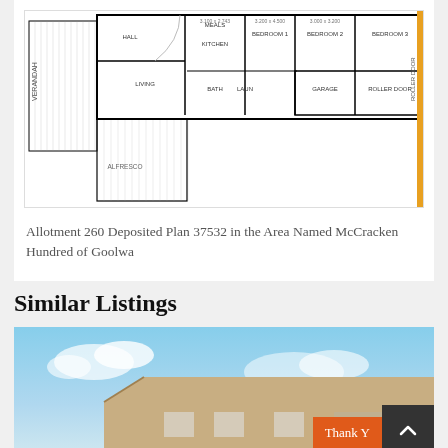[Figure (engineering-diagram): Floor plan diagram showing rooms: Verandah, Hall, Meals, Kitchen, Bedroom 1, Bedroom 2, Bedroom 3, Living, Bath, Laundry, Garage, Roller Door sections. Technical layout with dimensions labeled on each room.]
Allotment 260 Deposited Plan 37532 in the Area Named McCracken Hundred of Goolwa
Similar Listings
[Figure (photo): Exterior photo of a house with beige/tan cladding against a partly cloudy blue sky, partially visible at the bottom of the page.]